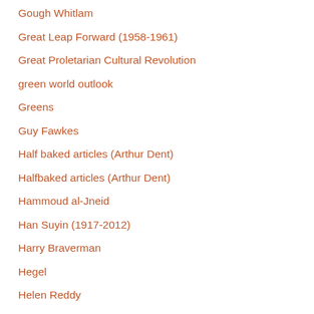Gough Whitlam
Great Leap Forward (1958-1961)
Great Proletarian Cultural Revolution
green world outlook
Greens
Guy Fawkes
Half baked articles (Arthur Dent)
Halfbaked articles (Arthur Dent)
Hammoud al-Jneid
Han Suyin (1917-2012)
Harry Braverman
Hegel
Helen Reddy
Henry Kissinger
Hilary Clinton
historical materialism
homogenization of data